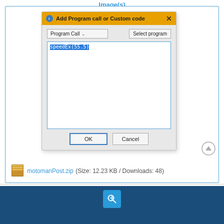Image(s)
[Figure (screenshot): Windows dialog box titled 'Add Program call or Custom code' with a 'Program Call' dropdown, 'Select program' button, a text area containing selected text 'speedEx(55.5)', and OK/Cancel buttons]
motomanPost.zip (Size: 12.23 KB / Downloads: 48)